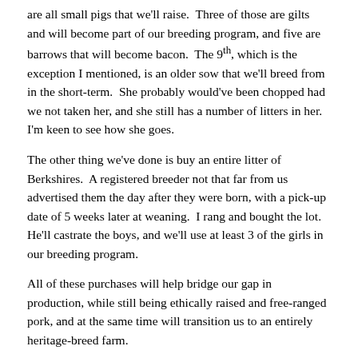are all small pigs that we'll raise.  Three of those are gilts and will become part of our breeding program, and five are barrows that will become bacon.  The 9th, which is the exception I mentioned, is an older sow that we'll breed from in the short-term.  She probably would've been chopped had we not taken her, and she still has a number of litters in her.  I'm keen to see how she goes.
The other thing we've done is buy an entire litter of Berkshires.  A registered breeder not that far from us advertised them the day after they were born, with a pick-up date of 5 weeks later at weaning.  I rang and bought the lot.  He'll castrate the boys, and we'll use at least 3 of the girls in our breeding program.
All of these purchases will help bridge our gap in production, while still being ethically raised and free-ranged pork, and at the same time will transition us to an entirely heritage-breed farm.